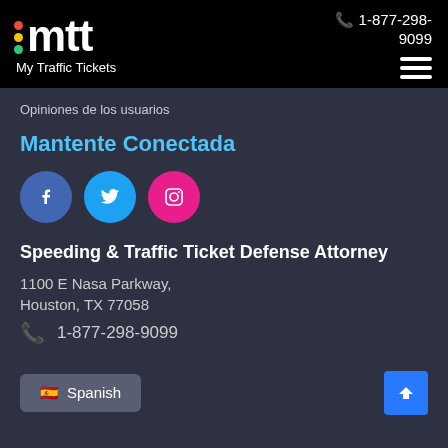mtt My Traffic Tickets | 1-877-298-9099
Opiniones de los usuarios
Mantente Conectada
[Figure (logo): Social media icons: Facebook (blue circle), Twitter (light blue circle), Instagram (pink circle)]
Speeding & Traffic Ticket Defense Attorney
1100 E Nasa Parkway,
Houston, TX 77058
1-877-298-9099
Spanish